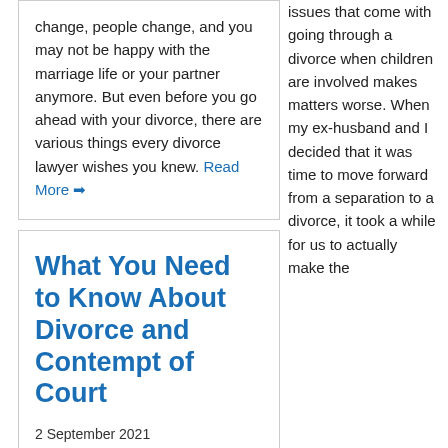change, people change, and you may not be happy with the marriage life or your partner anymore.  But even before you go ahead with your divorce, there are various things every divorce lawyer wishes you knew. Read More →
What You Need to Know About Divorce and Contempt of Court
2 September 2021
Categories: , Blog
A divorce legally ends your marriage contract. You may give a divorce...
issues that come with going through a divorce when children are involved makes matters worse. When my ex-husband and I decided that it was time to move forward from a separation to a divorce, it took a while for us to actually make the